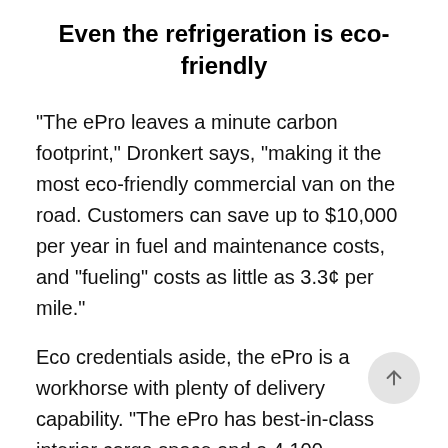Even the refrigeration is eco-friendly
“The ePro leaves a minute carbon footprint,” Dronkert says, “making it the most eco-friendly commercial van on the road. Customers can save up to $10,000 per year in fuel and maintenance costs, and “fueling” costs as little as 3.3¢ per mile.”
Eco credentials aside, the ePro is a workhorse with plenty of delivery capability. “The ePro has best-in-class interior cargo space and a 4,100-